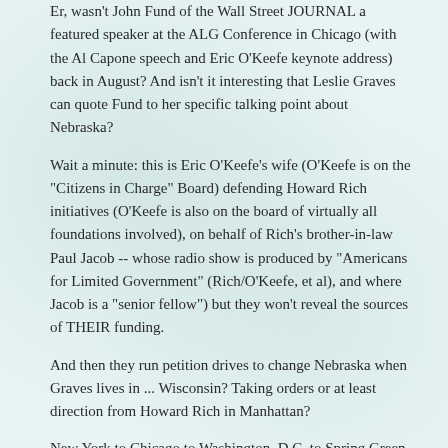Er, wasn't John Fund of the Wall Street JOURNAL a featured speaker at the ALG Conference in Chicago (with the Al Capone speech and Eric O'Keefe keynote address) back in August? And isn't it interesting that Leslie Graves can quote Fund to her specific talking point about Nebraska?
Wait a minute: this is Eric O'Keefe's wife (O'Keefe is on the "Citizens in Charge" Board) defending Howard Rich initiatives (O'Keefe is also on the board of virtually all foundations involved), on behalf of Rich's brother-in-law Paul Jacob -- whose radio show is produced by "Americans for Limited Government" (Rich/O'Keefe, et al), and where Jacob is a "senior fellow") but they won't reveal the sources of THEIR funding.
And then they run petition drives to change Nebraska when Graves lives in ... Wisconsin? Taking orders or at least direction from Howard Rich in Manhattan?
New York to Chicago to Washington, D.C. to Spring Green, Wisconsin? Then from Spring Green to Idaho (Laird Maxwell), Oregon (Kurt Weber), Nebraska (Mike Groene), and several other states with massive fax blasts asking for public employee emails? (Four weeks before the election?) Here's Groene, according to Leslie Graves :
As I relayed my experiences to Mike Groene, chairperson of the